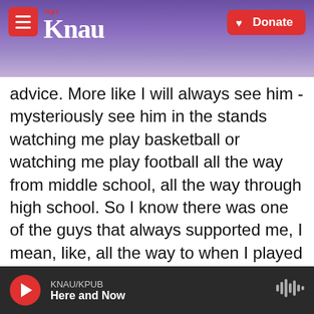[Figure (screenshot): KNAU NPR radio station website header with logo and Donate button on mountain landscape background]
advice. More like I will always see him - mysteriously see him in the stands watching me play basketball or watching me play football all the way from middle school, all the way through high school. So I know there was one of the guys that always supported me, I mean, like, all the way to when I played my college ball at Stephen F. Austin State University 2002 through 2005. I would come back, and he would always ask, man, how's it going, little bro? Man, last thing he'd always tell me is that I love you. You know, you don't get too many people these days to tell you that they love you and truly mean it. And, you know, that's why this guy, he will
KNAU/KPUB
Here and Now